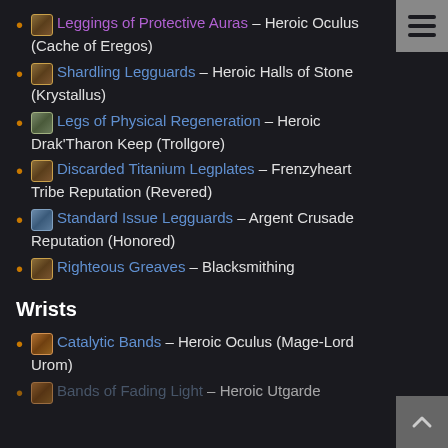Leggings of Protective Auras – Heroic Oculus (Cache of Eregos)
Shardling Legguards – Heroic Halls of Stone (Krystallus)
Legs of Physical Regeneration – Heroic Drak'Tharon Keep (Trollgore)
Discarded Titanium Legplates – Frenzyheart Tribe Reputation (Revered)
Standard Issue Legguards – Argent Crusade Reputation (Honored)
Righteous Greaves – Blacksmithing
Wrists
Catalytic Bands – Heroic Oculus (Mage-Lord Urom)
Bands of Fading Light – Heroic Utgarde Pinnacle (?)